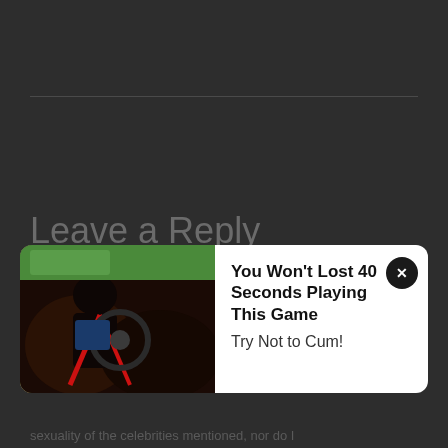Leave a Reply
You must be logged in to post a comment.
[Figure (screenshot): Advertisement popup overlay showing a car interior image on the left and ad text on the right with a close button]
sexuality of the celebrities mentioned, nor do I